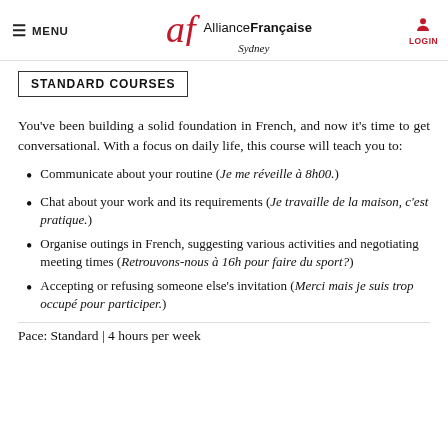MENU | Alliance Française Sydney | LOGIN
STANDARD COURSES
You've been building a solid foundation in French, and now it's time to get conversational. With a focus on daily life, this course will teach you to:
Communicate about your routine (Je me réveille à 8h00.)
Chat about your work and its requirements (Je travaille de la maison, c'est pratique.)
Organise outings in French, suggesting various activities and negotiating meeting times (Retrouvons-nous à 16h pour faire du sport?)
Accepting or refusing someone else's invitation (Merci mais je suis trop occupé pour participer.)
Pace: Standard | 4 hours per week